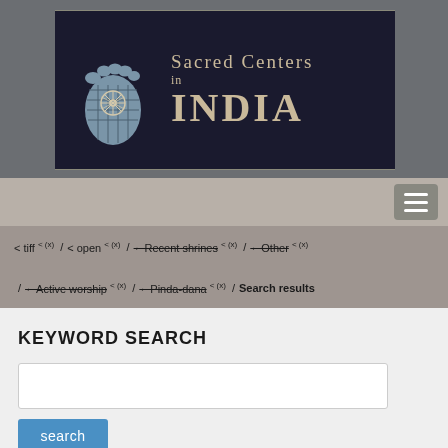[Figure (logo): Sacred Centers in India logo with a stylized foot/footprint icon and the text 'Sacred Centers in INDIA' on a dark background with decorative horizontal lines]
Navigation bar with hamburger menu icon
< tiff <(x) / < open <(x) / ←Recent shrines <(x) / ←Other <(x) / ←Active worship <(x) / ←Pinda-dana <(x) / Search results
KEYWORD SEARCH
search